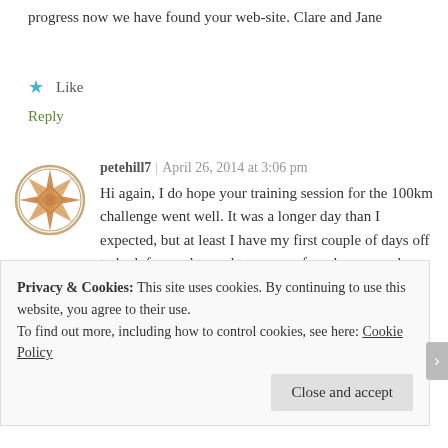progress now we have found your web-site. Clare and Jane
★ Like
Reply
petehill7 | April 26, 2014 at 3:06 pm
Hi again, I do hope your training session for the 100km challenge went well. It was a longer day than I expected, but at least I have my first couple of days off to look forward to and to prepare for a heavy week ahead. Thanks and
Privacy & Cookies: This site uses cookies. By continuing to use this website, you agree to their use.
To find out more, including how to control cookies, see here: Cookie Policy
Close and accept